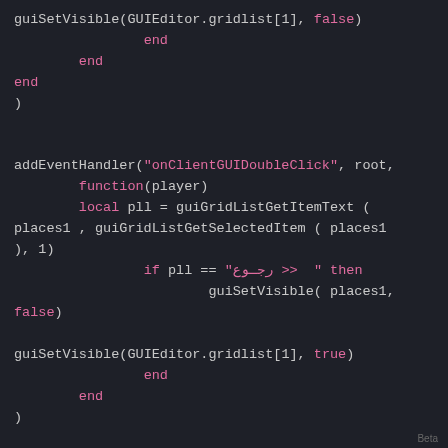guiSetVisible(GUIEditor.gridlist[1], false)
                end
        end
end
)


addEventHandler("onClientGUIDoubleClick", root,
        function(player)
        local pll = guiGridListGetItemText (
places1 , guiGridListGetSelectedItem ( places1
), 1)
                if pll == "رجـوع >>  " then
                        guiSetVisible( places1,
false)

guiSetVisible(GUIEditor.gridlist[1], true)
                end
        end
)
Beta